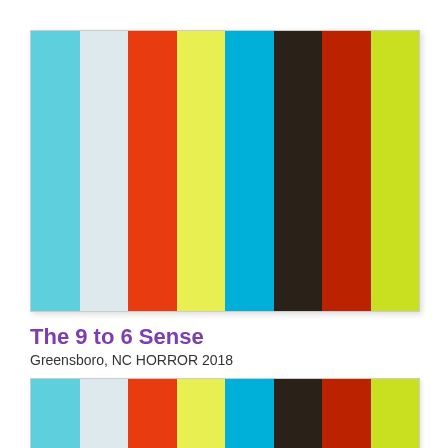[Figure (illustration): Color palette swatch strip with 8 vertical color bars: light blue, light gray/white, orange-red, yellow-green/lime, cyan/sky blue, dark brown/charcoal, dark red/brick, lime green]
The 9 to 6 Sense
Greensboro, NC HORROR 2018
[Figure (illustration): Partial color palette swatch strip (cropped at bottom) with same 8 vertical color bars: light blue, light gray/white, orange-red, yellow-green/lime, cyan/sky blue, dark brown/charcoal, dark red/brick, lime green]